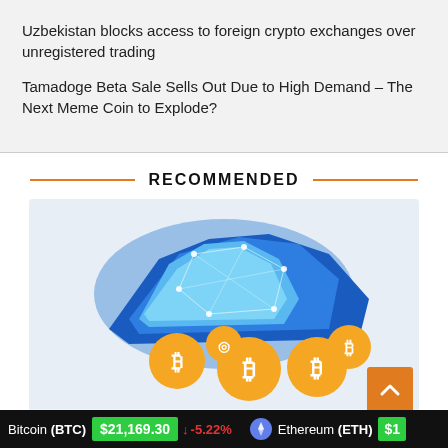Uzbekistan blocks access to foreign crypto exchanges over unregistered trading
Tamadoge Beta Sale Sells Out Due to High Demand – The Next Meme Coin to Explode?
RECOMMENDED
[Figure (illustration): A blue polygon cloud illustration with Bitcoin and crypto coin icons below it, on a light grey background]
BITCOIN CLOUD MINING NEVER WAS SO…
Bitcoin (BTC)  $21,169.30  ↓ -5.22%    Ethereum (ETH)  $1…